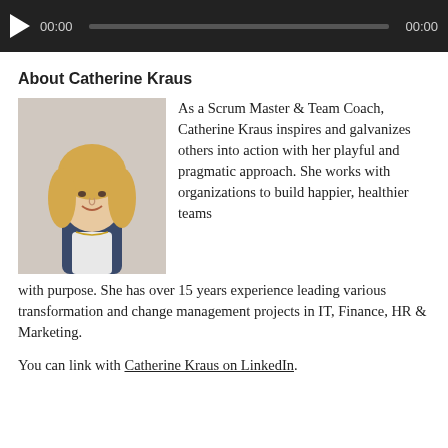[Figure (other): Audio player bar with play button, timestamp 00:00, progress bar, and end time 00:00 on dark background]
About Catherine Kraus
[Figure (photo): Professional headshot of Catherine Kraus, a blonde woman in a dark blazer, smiling.]
As a Scrum Master & Team Coach, Catherine Kraus inspires and galvanizes others into action with her playful and pragmatic approach. She works with organizations to build happier, healthier teams with purpose. She has over 15 years experience leading various transformation and change management projects in IT, Finance, HR & Marketing.
You can link with Catherine Kraus on LinkedIn.